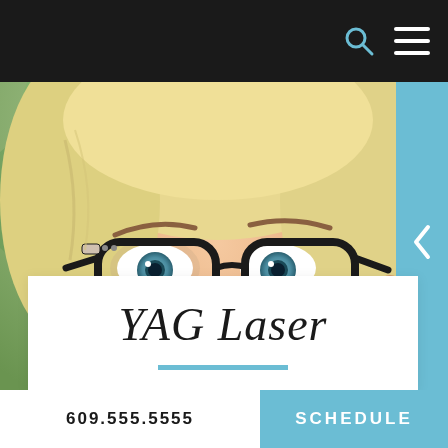Navigation bar with search icon and menu icon
[Figure (photo): Close-up photo of a young smiling blonde woman wearing black-rimmed glasses, with green eyes, multiple ear piercings, photographed outdoors with blurred green background.]
YAG Laser
609.555.5555
SCHEDULE